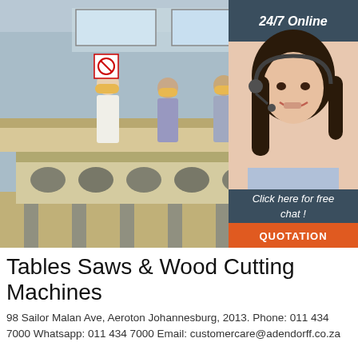[Figure (photo): Factory interior showing workers in yellow hard hats inspecting wood cutting machines on a production floor. Industrial equipment visible including conveyors and rollers. A sidebar widget shows a customer service agent with headset, '24/7 Online' header, 'Click here for free chat!' text, and an orange 'QUOTATION' button.]
Tables Saws & Wood Cutting Machines
98 Sailor Malan Ave, Aeroton Johannesburg, 2013. Phone: 011 434 7000 Whatsapp: 011 434 7000 Email: customercare@adendorff.co.za